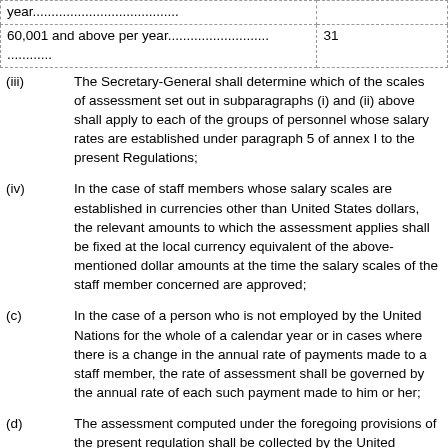| Income bracket | Rate |
| --- | --- |
| year....................................... |  |
| 60,001 and above per year...........................
........... | 31 |
(iii) The Secretary-General shall determine which of the scales of assessment set out in subparagraphs (i) and (ii) above shall apply to each of the groups of personnel whose salary rates are established under paragraph 5 of annex I to the present Regulations;
(iv) In the case of staff members whose salary scales are established in currencies other than United States dollars, the relevant amounts to which the assessment applies shall be fixed at the local currency equivalent of the above-mentioned dollar amounts at the time the salary scales of the staff member concerned are approved;
(c) In the case of a person who is not employed by the United Nations for the whole of a calendar year or in cases where there is a change in the annual rate of payments made to a staff member, the rate of assessment shall be governed by the annual rate of each such payment made to him or her;
(d) The assessment computed under the foregoing provisions of the present regulation shall be collected by the United Nations by withholding it from payments. No part of the assessment so collected shall be refunded because of cessation of employment during the calendar year;
(e) Revenue derived from staff assessment not otherwise disposed of